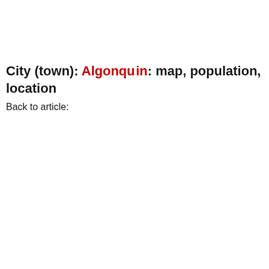City (town): Algonquin: map, population, location
Back to article: